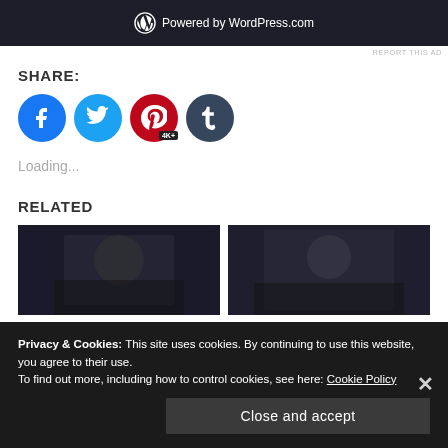[Figure (screenshot): WordPress.com dark banner with WordPress logo and 'Powered by WordPress.com' text]
REPORT THIS AD
SHARE:
[Figure (infographic): Social share icons: Facebook (blue), Twitter (light blue), Pinterest (red with 4K+ badge), Tumblr (dark teal)]
Loading...
RELATED
[Figure (photo): Two related article thumbnail images showing dark moody portrait photos]
Privacy & Cookies: This site uses cookies. By continuing to use this website, you agree to their use.
To find out more, including how to control cookies, see here: Cookie Policy
Close and accept